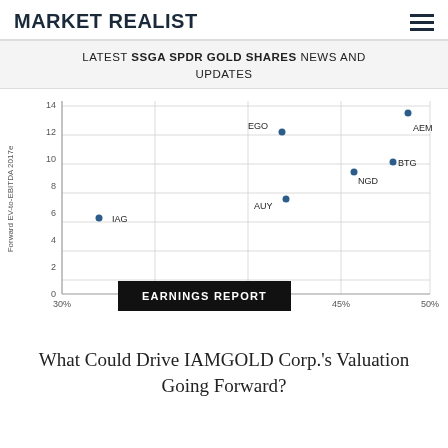MARKET REALIST
LATEST SSGA SPDR GOLD SHARES NEWS AND UPDATES
[Figure (scatter-plot): Forward EV-to-EBITDA 2017e vs. All-in Sustaining Costs]
EARNINGS REPORT
What Could Drive IAMGOLD Corp.'s Valuation Going Forward?